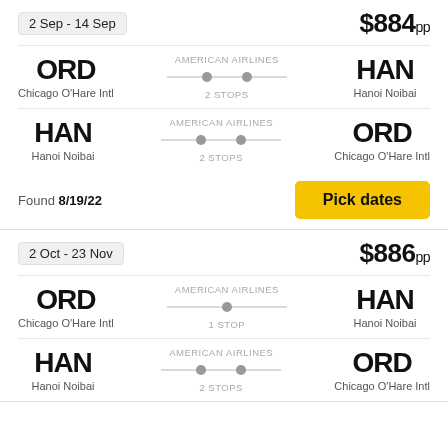2 Sep - 14 Sep
$884pp
ORD Chicago O'Hare Intl — AMERICAN AIRLINES — 2 STOPS — HAN Hanoi Noibai
HAN Hanoi Noibai — AMERICAN AIRLINES — 2 STOPS — ORD Chicago O'Hare Intl
Found 8/19/22
Pick dates
2 Oct - 23 Nov
$886pp
ORD Chicago O'Hare Intl — AMERICAN AIRLINES — 1 STOP — HAN Hanoi Noibai
HAN Hanoi Noibai — AMERICAN AIRLINES — 2 STOPS — ORD Chicago O'Hare Intl